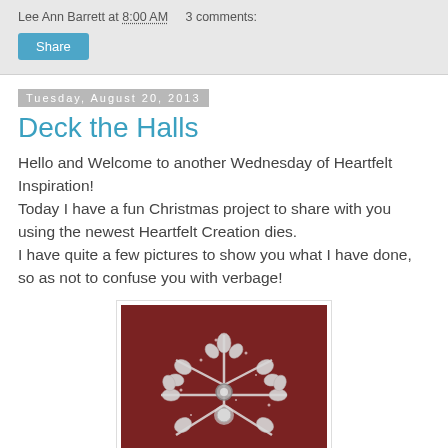Lee Ann Barrett at 8:00 AM    3 comments:
Share
Tuesday, August 20, 2013
Deck the Halls
Hello and Welcome to another Wednesday of Heartfelt Inspiration!
Today I have a fun Christmas project to share with you using the newest Heartfelt Creation dies.
I have quite a few pictures to show you what I have done, so as not to confuse you with verbage!
[Figure (photo): Close-up photo of a silver glittery snowflake or decorative die-cut piece against a dark red background]